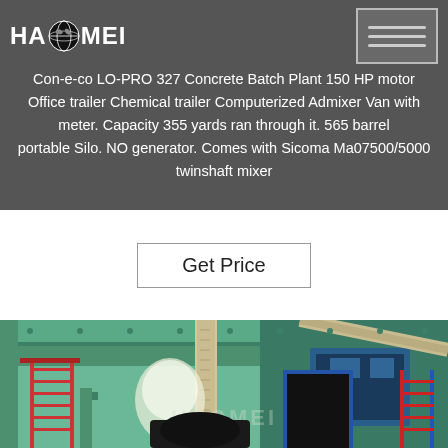Con-e-co LO-PRO 327 Concrete Batch Plant 150 HP motor Office trailer Chemical trailer Computerized Admixer Van with meter. Capacity 355 yards ran through it. 565 barrel portable Silo. NO generator. Comes with Sicoma Ma07500/5000 twinshaft mixer
Get Price
[Figure (photo): Photograph of a green concrete batch plant facility showing structural framework, ladders with red and blue railings, a large hose/chute, and an open doorway. HAOMEI watermark visible on the image.]